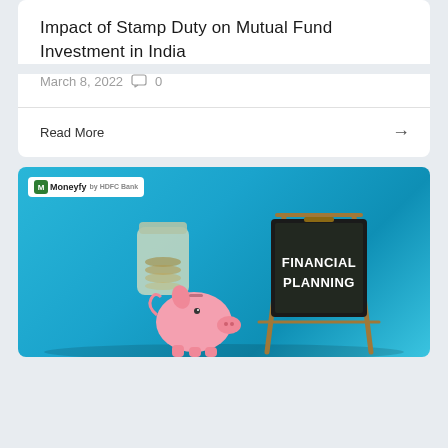Impact of Stamp Duty on Mutual Fund Investment in India
March 8, 2022  0
Read More →
[Figure (photo): Financial planning themed image with a piggy bank, a glass jar of coins, and a blackboard on an easel displaying 'FINANCIAL PLANNING' text, against a light blue background. Moneyfy logo badge in top-left corner.]